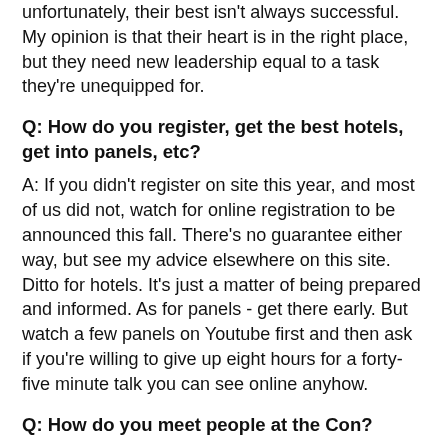unfortunately, their best isn't always successful. My opinion is that their heart is in the right place, but they need new leadership equal to a task they're unequipped for.
Q: How do you register, get the best hotels, get into panels, etc?
A: If you didn't register on site this year, and most of us did not, watch for online registration to be announced this fall. There's no guarantee either way, but see my advice elsewhere on this site. Ditto for hotels. It's just a matter of being prepared and informed. As for panels - get there early. But watch a few panels on Youtube first and then ask if you're willing to give up eight hours for a forty-five minute talk you can see online anyhow.
Q: How do you meet people at the Con?
A: I get asked this a lot. Some people just feel left out of all the parties, and they don't understand how everyone else hears about them or gets invited. Look around online and take initiative; be bold and just show up at the meet-ups and parties that are listed. A lot of people are strangers to each